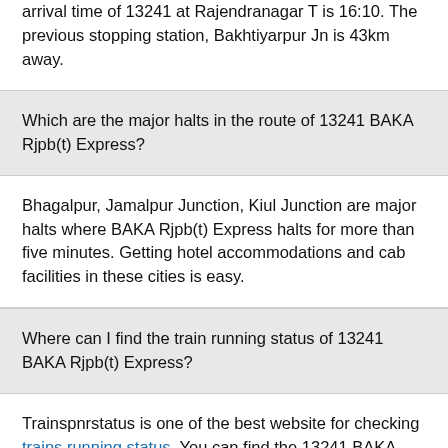arrival time of 13241 at Rajendranagar T is 16:10. The previous stopping station, Bakhtiyarpur Jn is 43km away.
Which are the major halts in the route of 13241 BAKA Rjpb(t) Express?
Bhagalpur, Jamalpur Junction, Kiul Junction are major halts where BAKA Rjpb(t) Express halts for more than five minutes. Getting hotel accommodations and cab facilities in these cities is easy.
Where can I find the train running status of 13241 BAKA Rjpb(t) Express?
Trainspnrstatus is one of the best website for checking trains running status. You can find the 13241 BAKA Rjpb(t) Express running status here.